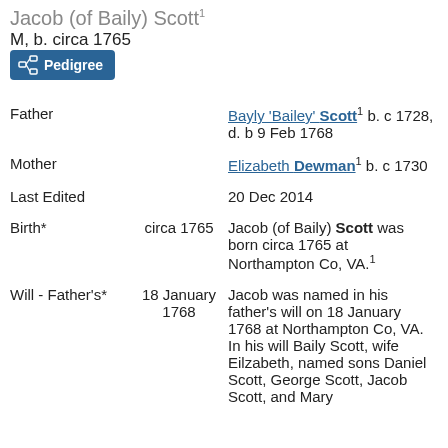Jacob (of Baily) Scott¹
M, b. circa 1765
[Figure (other): Pedigree button]
| Field | Date | Value |
| --- | --- | --- |
| Father |  | Bayly 'Bailey' Scott¹ b. c 1728, d. b 9 Feb 1768 |
| Mother |  | Elizabeth Dewman¹ b. c 1730 |
| Last Edited |  | 20 Dec 2014 |
| Birth* | circa 1765 | Jacob (of Baily) Scott was born circa 1765 at Northampton Co, VA.¹ |
| Will - Father's* | 18 January 1768 | Jacob was named in his father's will on 18 January 1768 at Northampton Co, VA. In his will Baily Scott, wife Eilzabeth, named sons Daniel Scott, George Scott, Jacob Scott, and Mary |